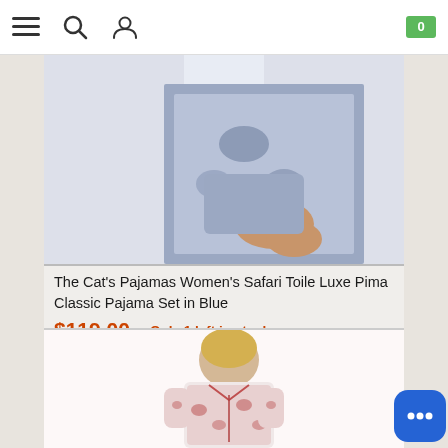[Figure (screenshot): E-commerce website navigation bar with hamburger menu, search icon, user icon on the left, and a green shopping cart badge showing 0 on the right]
[Figure (photo): Cropped product photo showing woman wearing blue Safari Toile Luxe Pima Classic Pajama Set, showing torso and hands]
The Cat's Pajamas Women's Safari Toile Luxe Pima Classic Pajama Set in Blue
$119.00  Only 1 left in stock
[Figure (illustration): Orange/brown shopping bag icon]
[Figure (photo): Product photo showing woman wearing red Safari Toile Pima Classic Pajama Set, showing full torso]
[Figure (illustration): Blue rounded square chat/messaging button with speech bubble dots icon]